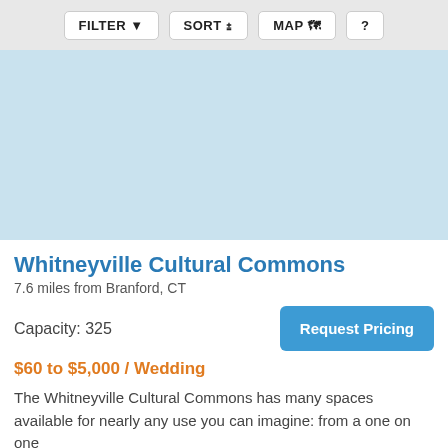[Figure (screenshot): Toolbar with FILTER, SORT, MAP, and ? buttons on a light gray background]
[Figure (photo): Light blue placeholder image representing a venue photo]
Whitneyville Cultural Commons
7.6 miles from Branford, CT
Capacity: 325
Request Pricing
$60 to $5,000 / Wedding
The Whitneyville Cultural Commons has many spaces available for nearly any use you can imagine: from a one on one